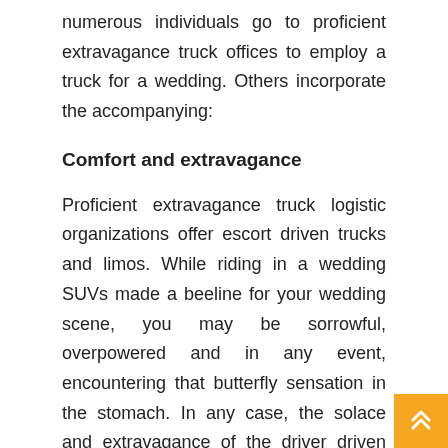numerous individuals go to proficient extravagance truck offices to employ a truck for a wedding. Others incorporate the accompanying:
Comfort and extravagance
Proficient extravagance truck logistic organizations offer escort driven trucks and limos. While riding in a wedding SUVs made a beeline for your wedding scene, you may be sorrowful, overpowered and in any event, encountering that butterfly sensation in the stomach. In any case, the solace and extravagance of the driver driven rich wedding truck will empower you beat all uneasiness and weight. Thus,